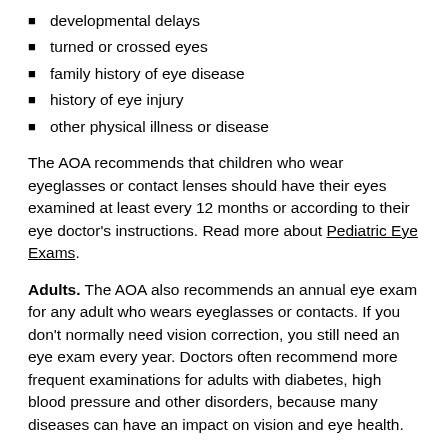developmental delays
turned or crossed eyes
family history of eye disease
history of eye injury
other physical illness or disease
The AOA recommends that children who wear eyeglasses or contact lenses should have their eyes examined at least every 12 months or according to their eye doctor's instructions. Read more about Pediatric Eye Exams.
Adults. The AOA also recommends an annual eye exam for any adult who wears eyeglasses or contacts. If you don't normally need vision correction, you still need an eye exam every year. Doctors often recommend more frequent examinations for adults with diabetes, high blood pressure and other disorders, because many diseases can have an impact on vision and eye health.